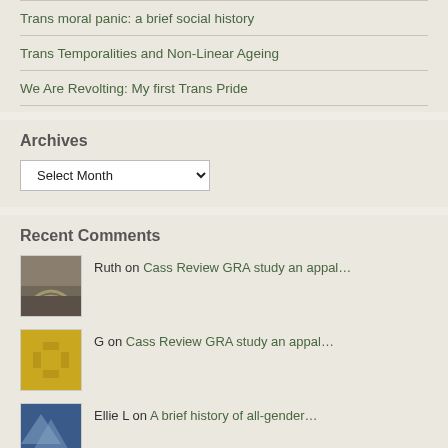Trans moral panic: a brief social history
Trans Temporalities and Non-Linear Ageing
We Are Revolting: My first Trans Pride
Archives
Select Month
Recent Comments
Ruth on Cass Review GRA study an appal…
G on Cass Review GRA study an appal…
Ellie L on A brief history of all-gender…